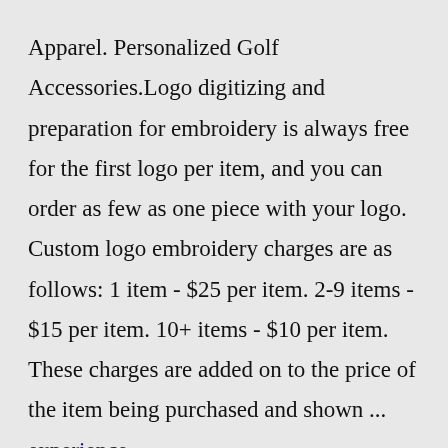Apparel. Personalized Golf Accessories.Logo digitizing and preparation for embroidery is always free for the first logo per item, and you can order as few as one piece with your logo. Custom logo embroidery charges are as follows: 1 item - $25 per item. 2-9 items - $15 per item. 10+ items - $10 per item. These charges are added on to the price of the item being purchased and shown ... experience